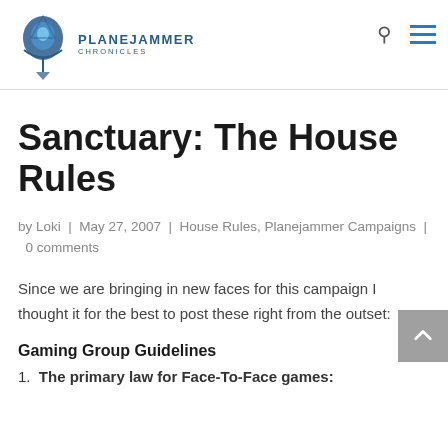Planejammer Chronicles
Sanctuary: The House Rules
by Loki | May 27, 2007 | House Rules, Planejammer Campaigns | 0 comments
Since we are bringing in new faces for this campaign I thought it for the best to post these right from the outset:
Gaming Group Guidelines
1.  The primary law for Face-To-Face games: